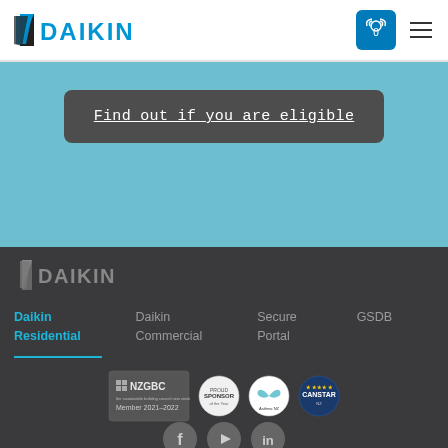[Figure (logo): Daikin logo top header — blue checkmark/wing icon with DAIKIN text in blue]
[Figure (logo): Wishlist button with heart icon and badge showing 0, blue background]
Find out if you are eligible
[Figure (logo): Daikin footer logo — grey/muted version of the Daikin logo]
Daikin Residential
Daikin Commercial
Secure Portal
GSDB
[Figure (logo): NZGBC Member 2021-2022 badge, Sponsor badge, butterfly/Asthma NZ badge, CANSTAR badge — four certification logos]
[Figure (logo): Social media icons: Facebook, YouTube, LinkedIn — grey circles]